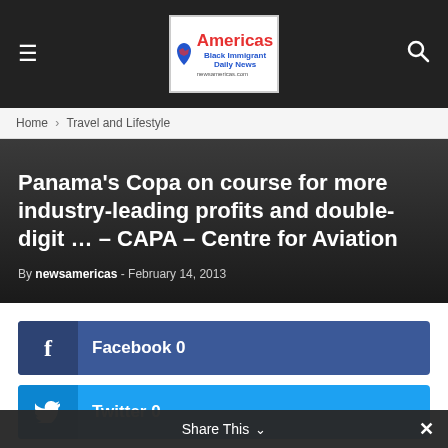Americas Black Immigrant Daily News
Home › Travel and Lifestyle
Panama's Copa on course for more industry-leading profits and double-digit … – CAPA – Centre for Aviation
By newsamericas - February 14, 2013
Facebook 0
Twitter 0
Share This